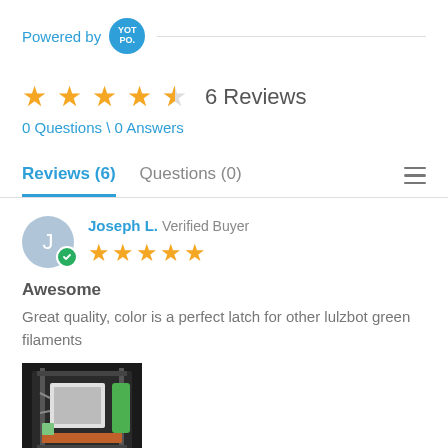Powered by YOTPO
6 Reviews
0 Questions \ 0 Answers
Reviews (6)
Questions (0)
Joseph L. Verified Buyer
Awesome
Great quality, color is a perfect latch for other lulzbot green filaments
[Figure (photo): Photo of a 3D printer with green and black components]